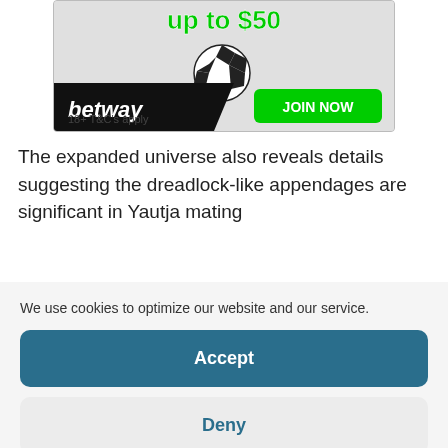[Figure (illustration): Betway sports betting advertisement banner showing a soccer player kicking a ball, with 'up to $50' offer text in green, black bar with 'betway' logo, green 'JOIN NOW' button, and '18+ T&C's apply' disclaimer text at bottom.]
The expanded universe also reveals details suggesting the dreadlock-like appendages are significant in Yautja mating
We use cookies to optimize our website and our service.
Accept
Deny
Preferences